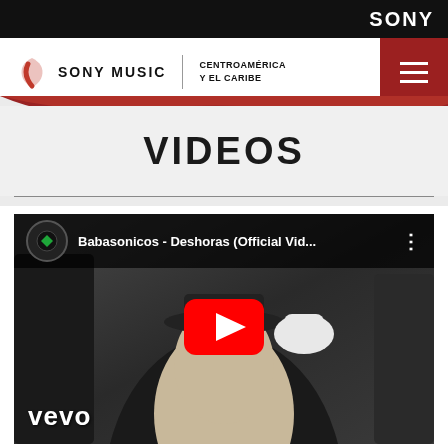SONY
[Figure (logo): Sony Music Centroamérica y El Caribe logo with red icon and navigation hamburger menu]
VIDEOS
[Figure (screenshot): YouTube/Vevo video thumbnail for Babasonicos - Deshoras (Official Vid...) showing a person in a hat with white gloves, with a red YouTube play button overlay and Vevo logo in bottom left]